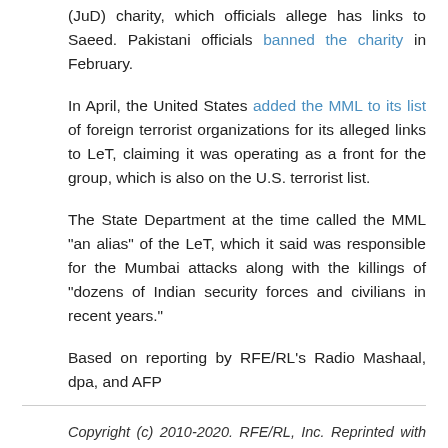(JuD) charity, which officials allege has links to Saeed. Pakistani officials banned the charity in February.
In April, the United States added the MML to its list of foreign terrorist organizations for its alleged links to LeT, claiming it was operating as a front for the group, which is also on the U.S. terrorist list.
The State Department at the time called the MML "an alias" of the LeT, which it said was responsible for the Mumbai attacks along with the killings of "dozens of Indian security forces and civilians in recent years."
Based on reporting by RFE/RL’s Radio Mashaal, dpa, and AFP
Copyright (c) 2010-2020. RFE/RL, Inc. Reprinted with the permission of Radio Free Europe/Radio Liberty, 1201 Connecticut Ave., N.W. Washington DC 20036.